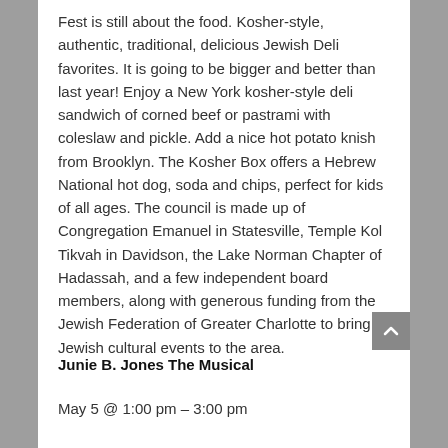Fest is still about the food. Kosher-style, authentic, traditional, delicious Jewish Deli favorites. It is going to be bigger and better than last year! Enjoy a New York kosher-style deli sandwich of corned beef or pastrami with coleslaw and pickle. Add a nice hot potato knish from Brooklyn. The Kosher Box offers a Hebrew National hot dog, soda and chips, perfect for kids of all ages. The council is made up of Congregation Emanuel in Statesville, Temple Kol Tikvah in Davidson, the Lake Norman Chapter of Hadassah, and a few independent board members, along with generous funding from the Jewish Federation of Greater Charlotte to bring Jewish cultural events to the area.
Junie B. Jones The Musical
May 5 @ 1:00 pm – 3:00 pm